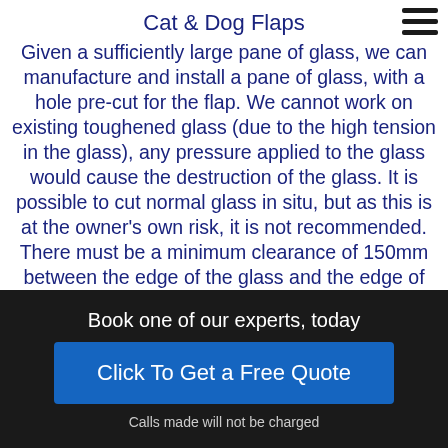Cat & Dog Flaps
Given a sufficiently large pane of glass, we can manufacture and install a pane of glass, with a hole pre-cut for the flap. We cannot work on existing toughened glass (due to the high tension in the glass), any pressure applied to the glass would cause the destruction of the glass. It is possible to cut normal glass in situ, but as this is at the owner's own risk, it is not recommended. There must be a minimum clearance of 150mm between the edge of the glass and the edge of the hole of the fl...
Book one of our experts, today
Click To Get a Free Quote
Calls made will not be charged